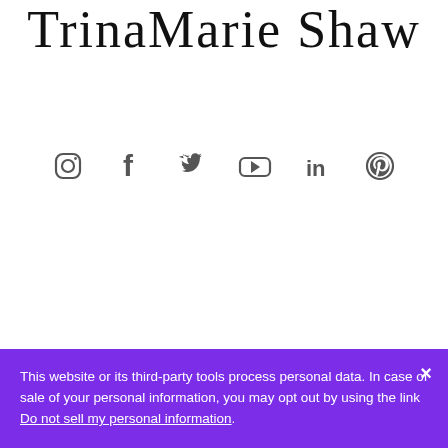TrinaMarie Shaw
[Figure (infographic): Row of 6 social media icons: Instagram, Facebook, Twitter, YouTube, LinkedIn, Pinterest — rendered as outline/filled SVG icons in dark gray]
This website or its third-party tools process personal data. In case of sale of your personal information, you may opt out by using the link Do not sell my personal information.